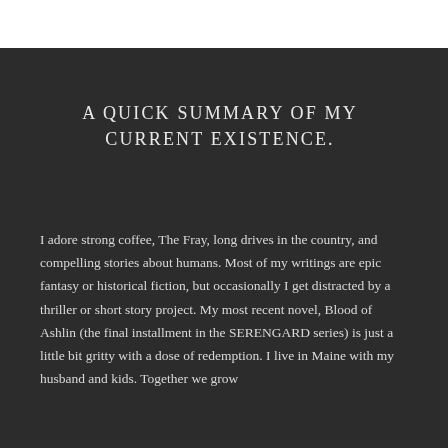A QUICK SUMMARY OF MY CURRENT EXISTENCE.
I adore strong coffee, The Fray, long drives in the country, and compelling stories about humans. Most of my writings are epic fantasy or historical fiction, but occasionally I get distracted by a thriller or short story project. My most recent novel, Blood of Ashlin (the final installment in the SERENGARD series) is just a little bit gritty with a dose of redemption. I live in Maine with my husband and kids. Together we grow